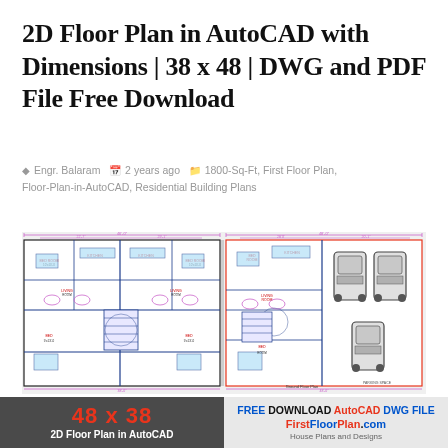2D Floor Plan in AutoCAD with Dimensions | 38 x 48 | DWG and PDF File Free Download
Engr. Balaram  2 years ago  1800-Sq-Ft, First Floor Plan, Floor-Plan-in-AutoCAD, Residential Building Plans
[Figure (engineering-diagram): Two 2D AutoCAD floor plans side by side. Left plan shows a duplex/twin unit layout with rooms, living areas, staircases, and dimension annotations. Right plan labeled 'Ground Floor Plan' shows a single unit layout with a garage area featuring two cars, rooms, and dimension annotations. Both plans have dimension lines in pink/red outside the walls.]
Ground Floor Plan
48 x 38
2D Floor Plan in AutoCAD
FREE DOWNLOAD AutoCAD DWG FILE
FirstFloorPlan.com
House Plans and Designs